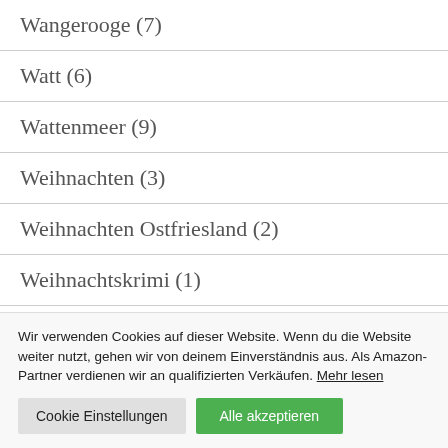Wangerooge (7)
Watt (6)
Wattenmeer (9)
Weihnachten (3)
Weihnachten Ostfriesland (2)
Weihnachtskrimi (1)
Wir verwenden Cookies auf dieser Website. Wenn du die Website weiter nutzt, gehen wir von deinem Einverständnis aus. Als Amazon-Partner verdienen wir an qualifizierten Verkäufen. Mehr lesen